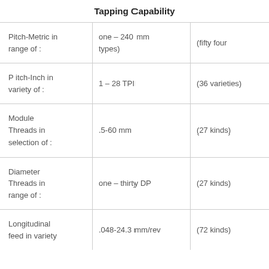| Tapping Capability |  |  |
| --- | --- | --- |
| Pitch-Metric in range of : | one – 240 mm types) | (fifty four types) |
| P itch-Inch in variety of : | 1 – 28 TPI | (36 varieties) |
| Module Threads in selection of : | .5-60 mm | (27 kinds) |
| Diameter Threads in range of : | one – thirty DP | (27 kinds) |
| Longitudinal feed in variety | .048-24.3 mm/rev | (72 kinds) |